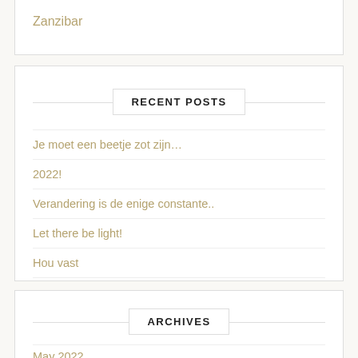Zanzibar
RECENT POSTS
Je moet een beetje zot zijn…
2022!
Verandering is de enige constante..
Let there be light!
Hou vast
ARCHIVES
May 2022